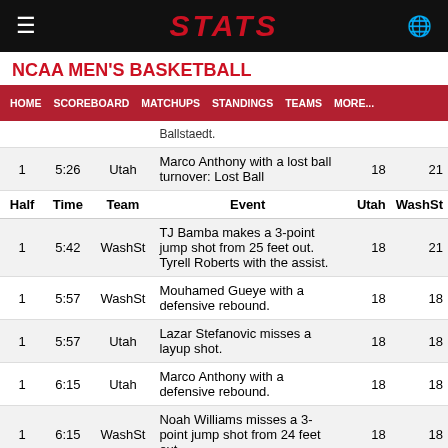STATS
NCAA MEN'S BASKETBALL
HOME  SCOREBOARD  MATCHUPS  STANDINGS  TEAMS  MORE...
| Half | Time | Team | Event | Utah | WashSt |
| --- | --- | --- | --- | --- | --- |
|  |  |  | Ballstaedt. |  |  |
| 1 | 5:26 | Utah | Marco Anthony with a lost ball turnover: Lost Ball | 18 | 21 |
| Half | Time | Team | Event | Utah | WashSt |
| 1 | 5:42 | WashSt | TJ Bamba makes a 3-point jump shot from 25 feet out. Tyrell Roberts with the assist. | 18 | 21 |
| 1 | 5:57 | WashSt | Mouhamed Gueye with a defensive rebound. | 18 | 18 |
| 1 | 5:57 | Utah | Lazar Stefanovic misses a layup shot. | 18 | 18 |
| 1 | 6:15 | Utah | Marco Anthony with a defensive rebound. | 18 | 18 |
| 1 | 6:15 | WashSt | Noah Williams misses a 3-point jump shot from 24 feet out. | 18 | 18 |